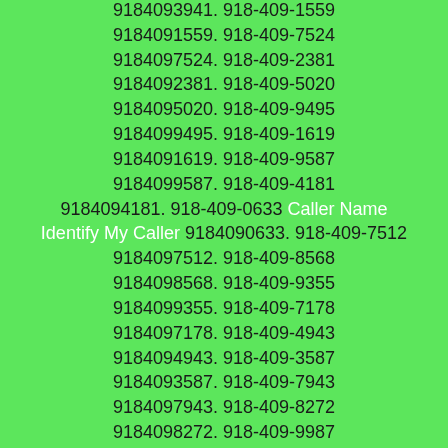9184093941. 918-409-1559 9184091559. 918-409-7524 9184097524. 918-409-2381 9184092381. 918-409-5020 9184095020. 918-409-9495 9184099495. 918-409-1619 9184091619. 918-409-9587 9184099587. 918-409-4181 9184094181. 918-409-0633 Caller Name Identify My Caller 9184090633. 918-409-7512 9184097512. 918-409-8568 9184098568. 918-409-9355 9184099355. 918-409-7178 9184097178. 918-409-4943 9184094943. 918-409-3587 9184093587. 918-409-7943 9184097943. 918-409-8272 9184098272. 918-409-9987 9184099987. 918-409-8515 9184098515. 918-409-4988 9184094988. 918-409-5497 9184095497. 918-409-3087 9184093087. 918-409-7714 9184097714. 918-409-2944 9184092944. 918-409-9667